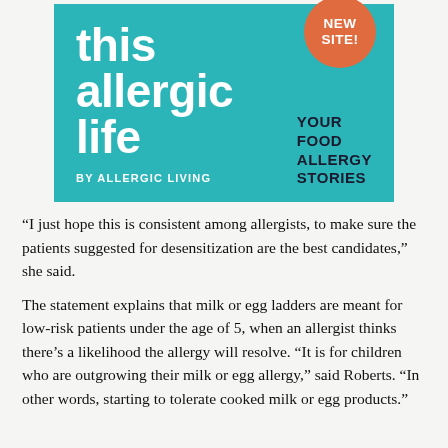[Figure (logo): This Allergic Life logo on teal background with orange 'NEW SITE!' badge, subtitle 'YOUR FOOD ALLERGY STORIES' and 'BY ALLERGIC LIVING']
“I just hope this is consistent among allergists, to make sure the patients suggested for desensitization are the best candidates,” she said.
The statement explains that milk or egg ladders are meant for low-risk patients under the age of 5, when an allergist thinks there’s a likelihood the allergy will resolve. “It is for children who are outgrowing their milk or egg allergy,” said Roberts. “In other words, starting to tolerate cooked milk or egg products.”